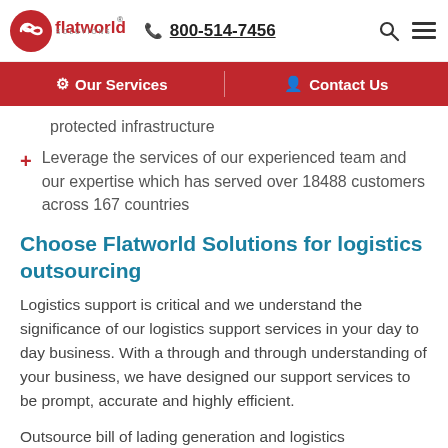flatworld solutions | 800-514-7456
Our Services | Contact Us
protected infrastructure
Leverage the services of our experienced team and our expertise which has served over 18488 customers across 167 countries
Choose Flatworld Solutions for logistics outsourcing
Logistics support is critical and we understand the significance of our logistics support services in your day to day business. With a through and through understanding of your business, we have designed our support services to be prompt, accurate and highly efficient.
Outsource bill of lading generation and logistics